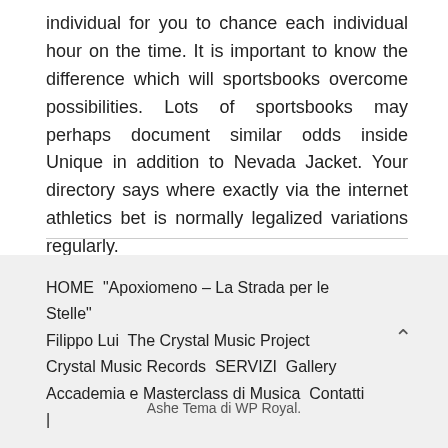individual for you to chance each individual hour on the time. It is important to know the difference which will sportsbooks overcome possibilities. Lots of sportsbooks may perhaps document similar odds inside Unique in addition to Nevada Jacket. Your directory says where exactly via the internet athletics bet is normally legalized variations regularly.
HOME “Apoxiomeno – La Strada per le Stelle” Filippo Lui The Crystal Music Project Crystal Music Records SERVIZI Gallery Accademia e Masterclass di Musica Contatti |
Ashe Tema di WP Royal.